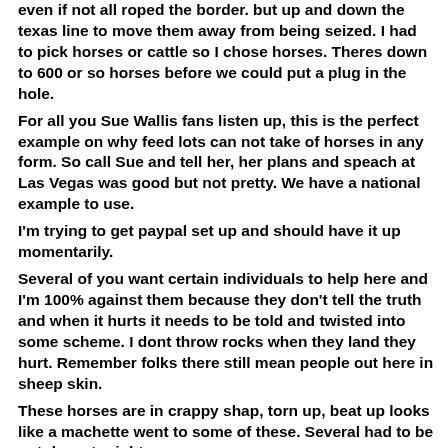even if not all roped the border, but up and down the texas line to move them away from being seized. I had to pick horses or cattle so I chose horses. Theres down to 600 or so horses before we could put a plug in the hole.
For all you Sue Wallis fans listen up, this is the perfect example on why feed lots can not take of horses in any form. So call Sue and tell her, her plans and speach at Las Vegas was good but not pretty. We have a national example to use.
I'm trying to get paypal set up and should have it up momentarily.
Several of you want certain individuals to help here and I'm 100% against them because they don't tell the truth and when it hurts it needs to be told and twisted into some scheme. I dont throw rocks when they land they hurt. Remember folks there still mean people out here in sheep skin.
These horses are in crappy shap, torn up, beat up looks like a machette went to some of these. Several had to be put down tonight.
here's the help, they have dead horses in the creek